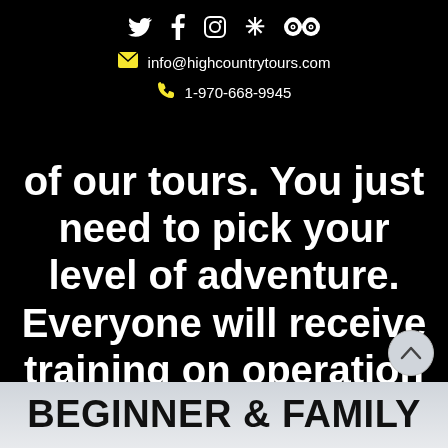Social icons: Twitter, Facebook, Instagram, Yelp, TripAdvisor
info@highcountrytours.com
1-970-668-9945
of our tours. You just need to pick your level of adventure. Everyone will receive training on operation of their snowmobile before heading out.
BOOK YOUR TOUR TODAY
BEGINNER & FAMILY